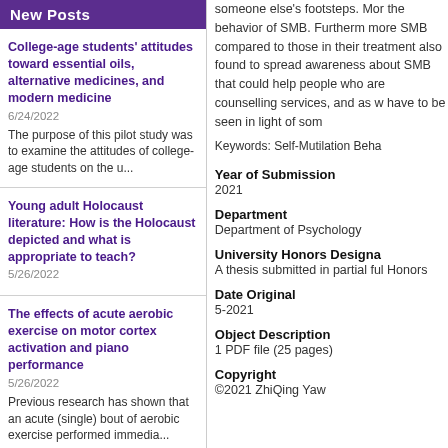New Posts
College-age students' attitudes toward essential oils, alternative medicines, and modern medicine
6/24/2022
The purpose of this pilot study was to examine the attitudes of college-age students on the u...
Young adult Holocaust literature: How is the Holocaust depicted and what is appropriate to teach?
5/26/2022
The effects of acute aerobic exercise on motor cortex activation and piano performance
5/26/2022
Previous research has shown that an acute (single) bout of aerobic exercise performed immedia...
The role of self-efficacy in pelvic floor physical therapy
5/26/2022
someone else's footsteps. Mor the behavior of SMB. Furtherm more SMB compared to those in their treatment also found to spread awareness about SMB that could help people who are counselling services, and as w have to be seen in light of som
Keywords: Self-Mutilation Beha
Year of Submission
2021
Department
Department of Psychology
University Honors Designa
A thesis submitted in partial ful Honors
Date Original
5-2021
Object Description
1 PDF file (25 pages)
Copyright
©2021 ZhiQing Yaw